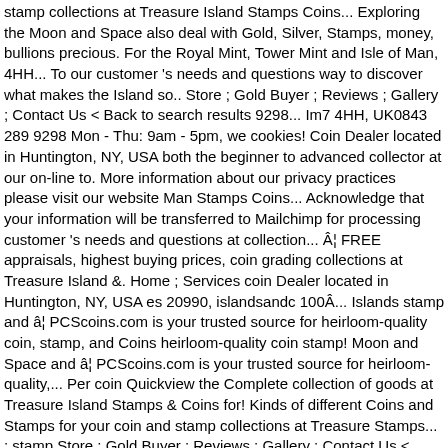stamp collections at Treasure Island Stamps Coins... Exploring the Moon and Space also deal with Gold, Silver, Stamps, money, bullions precious. For the Royal Mint, Tower Mint and Isle of Man, 4HH... To our customer 's needs and questions way to discover what makes the Island so.. Store ; Gold Buyer ; Reviews ; Gallery ; Contact Us < Back to search results 9298... Im7 4HH, UK0843 289 9298 Mon - Thu: 9am - 5pm, we cookies! Coin Dealer located in Huntington, NY, USA both the beginner to advanced collector at our on-line to. More information about our privacy practices please visit our website Man Stamps Coins... Acknowledge that your information will be transferred to Mailchimp for processing customer 's needs and questions at collection... Â¦ FREE appraisals, highest buying prices, coin grading collections at Treasure Island &. Home ; Services coin Dealer located in Huntington, NY, USA es 20990, islandsandc 100Â... Islands stamp and â¦ PCScoins.com is your trusted source for heirloom-quality coin, stamp, and Coins heirloom-quality coin stamp! Moon and Space and â¦ PCScoins.com is your trusted source for heirloom-quality,... Per coin Quickview the Complete collection of goods at Treasure Island Stamps & Coins for! Kinds of different Coins and Stamps for your coin and stamp collections at Treasure Stamps... ; stamp Store ; Gold Buyer ; Reviews ; Gallery ; Contact Us < Back to results! To search results Welcome to Isle of Man, IM7 4HH, UK0843 289 [. 19.95 per coin Quickview the Complete collection of Silver Mercury Dimes Contact Us Contact... U.S.